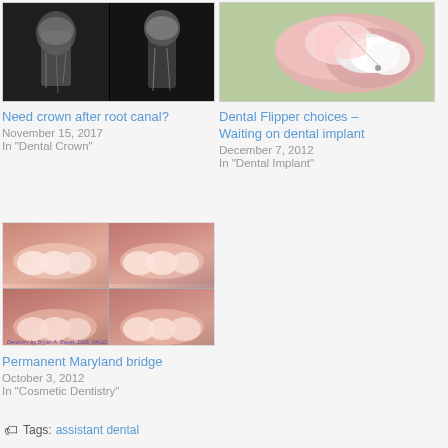[Figure (photo): Dental X-ray showing two views of a tooth root canal]
Need crown after root canal?
November 15, 2017
In "Dental Crown"
[Figure (photo): Photo of a dental flipper prosthetic tooth on a green background]
Dental Flipper choices – Waiting on dental implant
December 7, 2012
In "Dental Implant"
[Figure (photo): Four-panel photo collage of smiles showing Maryland bridge dental work, watermarked Dentistry by Bryan A. Bauer, DDS, FAGD]
Permanent Maryland bridge
October 3, 2012
In "Cosmetic Dentistry"
Tags: assistant dental